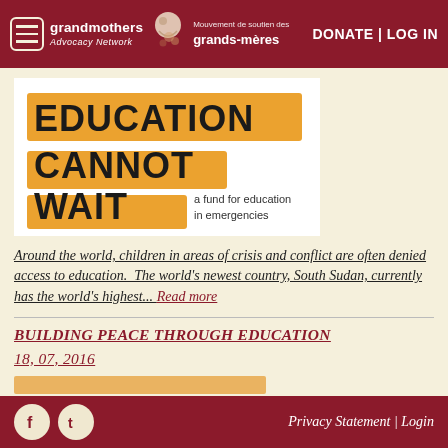grandmothers Advocacy Network | Mouvement de soutien des grands-mères | DONATE | LOG IN
[Figure (logo): Education Cannot Wait logo — orange brush-stroke background with bold black text reading EDUCATION CANNOT WAIT and subtitle 'a fund for education in emergencies']
Around the world, children in areas of crisis and conflict are often denied access to education. The world's newest country, South Sudan, currently has the world's highest... Read more
BUILDING PEACE THROUGH EDUCATION
18, 07, 2016
Privacy Statement | Login